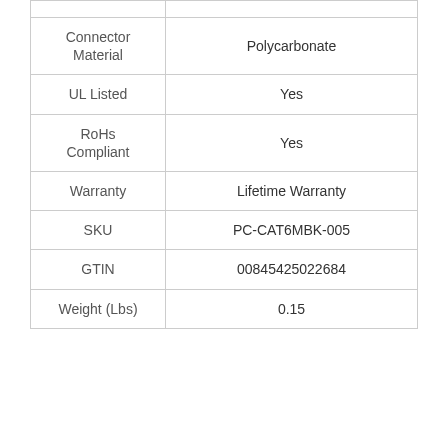| Property | Value |
| --- | --- |
| Connector Material | Polycarbonate |
| UL Listed | Yes |
| RoHs Compliant | Yes |
| Warranty | Lifetime Warranty |
| SKU | PC-CAT6MBK-005 |
| GTIN | 00845425022684 |
| Weight (Lbs) | 0.15 |